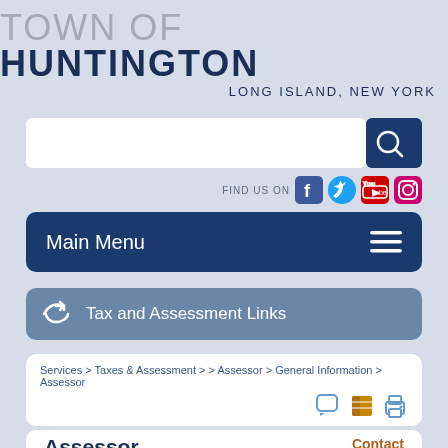TOWN OF HUNTINGTON LONG ISLAND, NEW YORK
[Figure (screenshot): Search bar with magnifying glass button and social media icons (Facebook, Twitter, YouTube, Instagram) with label FIND US ON]
Main Menu
Tax and Assessment Links
Services > Taxes & Assessment > > Assessor > General Information > Assessor
Assessor
Contact Information